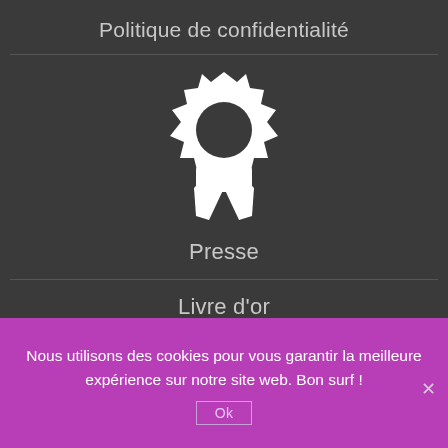Politique de confidentialité
[Figure (illustration): White award ribbon/badge icon with a sunburst gear-like top and two ribbon tails at the bottom, centered on dark background]
Presse
Livre d'or
Nos partenaires
Nous utilisons des cookies pour vous garantir la meilleure expérience sur notre site web. Bon surf !
Ok